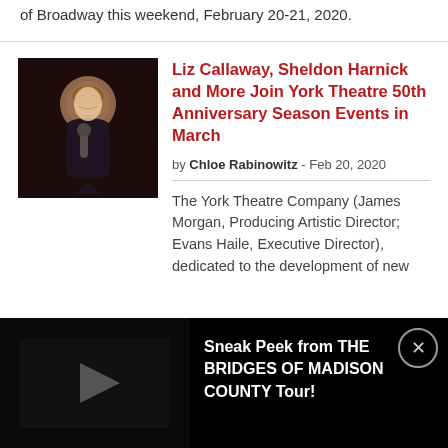of Broadway this weekend, February 20-21, 2020.
[Figure (photo): Woman in black dress singing into a microphone on stage]
Liz Callaway, Sheldon Harnick and More Join York Theatre 50th Anniversary Season Events in March
by Chloe Rabinowitz - Feb 20, 2020
The York Theatre Company (James Morgan, Producing Artistic Director; Evans Haile, Executive Director), dedicated to the development of new
Sneak Peek from THE BRIDGES OF MADISON COUNTY Tour!